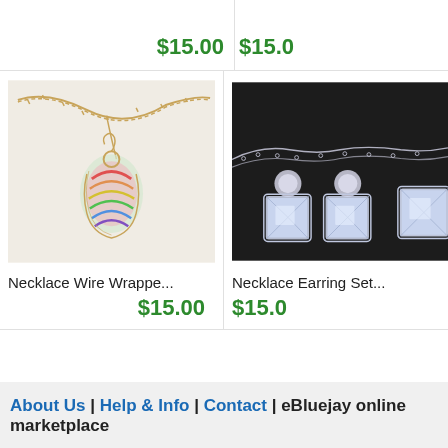$15.00
$15.0
[Figure (photo): Colorful wire-wrapped necklace with rainbow crystal pendant on gold chain]
Necklace Wire Wrappe...
$15.00
[Figure (photo): Necklace and earring set with square crystal/diamond pendants on black background]
Necklace Earring Set...
$15.0
About Us | Help & Info | Contact | eBluejay online marketplace